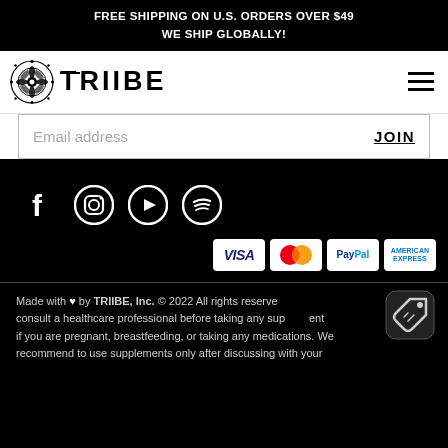FREE SHIPPING ON U.S. ORDERS OVER $49
WE SHIP GLOBALLY!
[Figure (logo): TRIIBE brand logo with ornate circular icon and bold sans-serif wordmark]
Email address
JOIN
[Figure (infographic): Social media icons: Facebook, Instagram, YouTube, Spotify]
[Figure (infographic): Payment badges: VISA, MasterCard, PayPal, American Express]
Made with ♥ by TRIIBE, Inc. © 2022 All rights reserved. Please consult a healthcare professional before taking any supplement if you are pregnant, breastfeeding, or taking any medications. We recommend to use supplements only after discussing with your